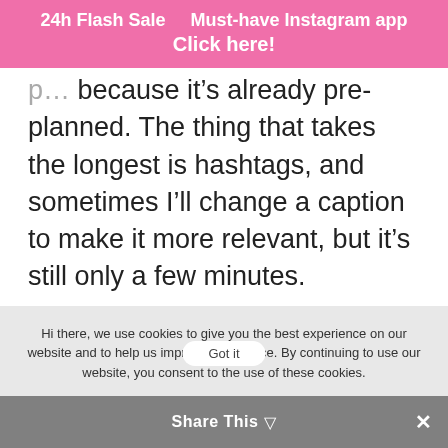24h Flash Sale   Must-have Instagram app
Click here!
because it's already pre-planned. The thing that takes the longest is hashtags, and sometimes I'll change a caption to make it more relevant, but it's still only a few minutes.
Hi there, we use cookies to give you the best experience on our website and to help us improve our service. By continuing to use our website, you consent to the use of these cookies.
Got it   Share This ▾  ✕